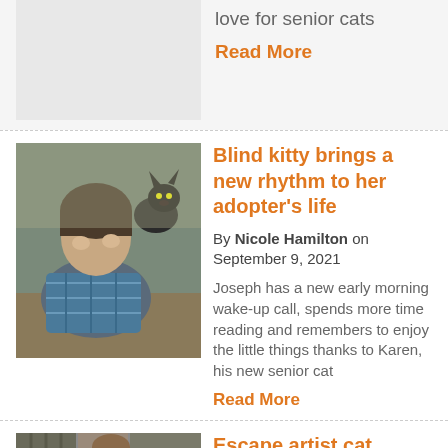love for senior cats
Read More
Blind kitty brings a new rhythm to her adopter's life
By Nicole Hamilton on September 9, 2021
Joseph has a new early morning wake-up call, spends more time reading and remembers to enjoy the little things thanks to Karen, his new senior cat
Read More
[Figure (photo): Young man with a black cat sitting on his shoulder]
Escape artist cat chooses home life over
[Figure (photo): Person with cat in outdoor/indoor setting]